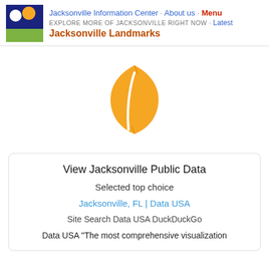Jacksonville Information Center · About us · Menu
EXPLORE MORE OF JACKSONVILLE RIGHT NOW · Latest
Jacksonville Landmarks
[Figure (logo): Orange leaf icon on white background]
View Jacksonville Public Data
Selected top choice
Jacksonville, FL | Data USA
Site Search Data USA DuckDuckGo
Data USA "The most comprehensive visualization